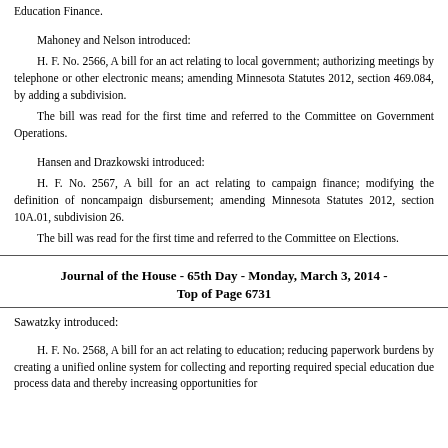Education Finance.
Mahoney and Nelson introduced:
H. F. No. 2566, A bill for an act relating to local government; authorizing meetings by telephone or other electronic means; amending Minnesota Statutes 2012, section 469.084, by adding a subdivision.
The bill was read for the first time and referred to the Committee on Government Operations.
Hansen and Drazkowski introduced:
H. F. No. 2567, A bill for an act relating to campaign finance; modifying the definition of noncampaign disbursement; amending Minnesota Statutes 2012, section 10A.01, subdivision 26.
The bill was read for the first time and referred to the Committee on Elections.
Journal of the House - 65th Day - Monday, March 3, 2014 - Top of Page 6731
Sawatzky introduced:
H. F. No. 2568, A bill for an act relating to education; reducing paperwork burdens by creating a unified online system for collecting and reporting required special education due process data and thereby increasing opportunities for